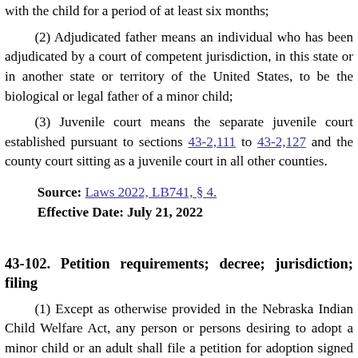with the child for a period of at least six months;
(2) Adjudicated father means an individual who has been adjudicated by a court of competent jurisdiction, in this state or in another state or territory of the United States, to be the biological or legal father of a minor child;
(3) Juvenile court means the separate juvenile court established pursuant to sections 43-2,111 to 43-2,127 and the county court sitting as a juvenile court in all other counties.
Source: Laws 2022, LB741, § 4.
Effective Date: July 21, 2022
43-102. Petition requirements; decree; jurisdiction; filing fee.
(1) Except as otherwise provided in the Nebraska Indian Child Welfare Act, any person or persons desiring to adopt a minor child or an adult shall file a petition for adoption signed and sworn to by the person or persons desiring to adopt. The following shall be filed prior to the hearing required by section 43-103: